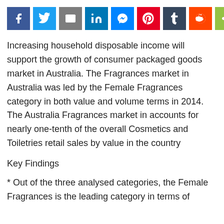[Figure (infographic): Social sharing buttons row: Facebook (blue), Twitter (light blue), Email (grey), LinkedIn (dark blue), Messenger (blue), Pinterest (red), Tumblr (dark grey), Reddit (orange), ShareThis (green)]
Increasing household disposable income will support the growth of consumer packaged goods market in Australia. The Fragrances market in Australia was led by the Female Fragrances category in both value and volume terms in 2014. The Australia Fragrances market in accounts for nearly one-tenth of the overall Cosmetics and Toiletries retail sales by value in the country
Key Findings
* Out of the three analysed categories, the Female Fragrances is the leading category in terms of